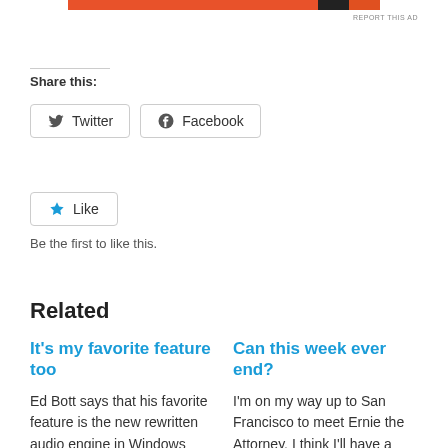[Figure (other): Orange and dark banner/ad bar at the top of the page with a REPORT THIS AD link]
Share this:
Twitter  Facebook (share buttons)
Like
Be the first to like this.
Related
It's my favorite feature too
Ed Bott says that his favorite feature is the new rewritten audio engine in Windows Vista
Can this week ever end?
I'm on my way up to San Francisco to meet Ernie the Attorney. I think I'll have a good stiff drink